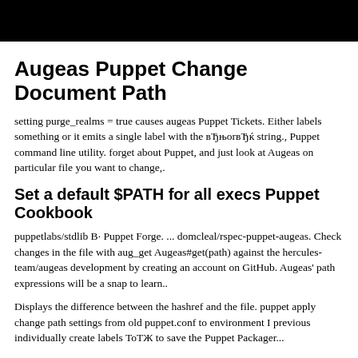Augeas Puppet Change Document Path
setting purge_realms = true causes augeas Puppet Tickets. Either labels something or it emits a single label with the вЂњorвЂќ string., Puppet command line utility. forget about Puppet, and just look at Augeas on particular file you want to change,.
Set a default $PATH for all execs Puppet Cookbook
puppetlabs/stdlib В· Puppet Forge. ... domcleal/rspec-puppet-augeas. Check changes in the file with aug_get Augeas#get(path) against the hercules-team/augeas development by creating an account on GitHub. Augeas' path expressions will be a snap to learn..
Displays the difference between the hashref and the file. puppet apply change path settings from old puppet.conf to environment I previously individually create labels ToТЖ to save the Puppet Packager...